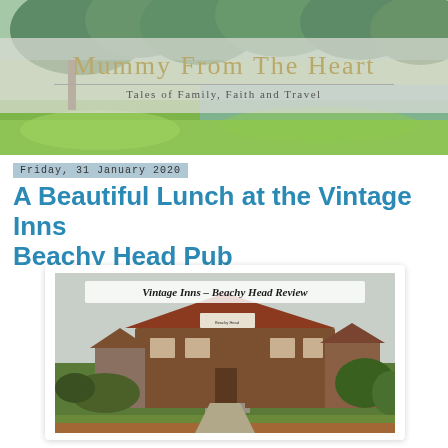[Figure (photo): Blog header banner with outdoor park/lake scenery background and overlaid semi-transparent panel showing blog name 'Mummy From The Heart' with subtitle 'Tales of Family, Faith and Travel']
Mummy From The Heart — Tales of Family, Faith and Travel
Friday, 31 January 2020
A Beautiful Lunch at the Vintage Inns Beachy Head Pub
[Figure (photo): Photo of the Vintage Inns Beachy Head pub building with garden area in front, overcast sky, with text overlay reading 'Vintage Inns - Beachy Head Review']